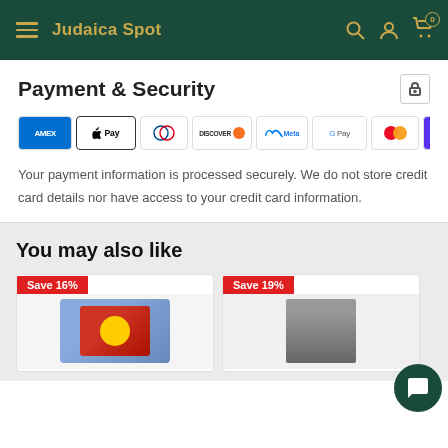Judaica Spot
Payment & Security
[Figure (other): Row of payment method logos: AMEX, Apple Pay, Diners Club, Discover, Meta, Google Pay, Mastercard, ShopPay, VISA]
Your payment information is processed securely. We do not store credit card details nor have access to your credit card information.
You may also like
[Figure (other): Product card with 'Save 16%' badge and product image placeholder]
[Figure (other): Product card with 'Save 19%' badge and product image placeholder]